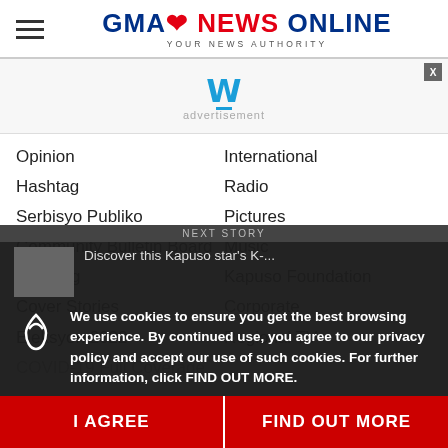GMA NEWS ONLINE — YOUR NEWS AUTHORITY
[Figure (screenshot): Advertisement banner area with weather icon (W) and ad label]
Opinion
Hashtag
Serbisyo Publiko
Community Bulletin Board
Tracking
Cover Stories
Eleksyon 2022
COVID-19 Full Coverage
International
Radio
Pictures
Music
Kapuso Foundation
Corporate
Regional TV
We use cookies to ensure you get the best browsing experience. By continued use, you agree to our privacy policy and accept our use of such cookies. For further information, click FIND OUT MORE.
I AGREE
FIND OUT MORE